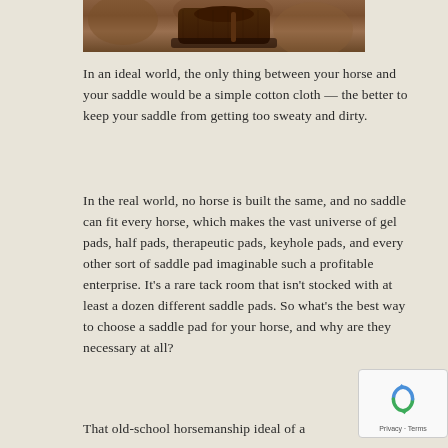[Figure (photo): Top portion of a photo showing a horse with a saddle, cropped to show mainly the saddle area against the horse's body]
In an ideal world, the only thing between your horse and your saddle would be a simple cotton cloth — the better to keep your saddle from getting too sweaty and dirty.
In the real world, no horse is built the same, and no saddle can fit every horse, which makes the vast universe of gel pads, half pads, therapeutic pads, keyhole pads, and every other sort of saddle pad imaginable such a profitable enterprise. It's a rare tack room that isn't stocked with at least a dozen different saddle pads. So what's the best way to choose a saddle pad for your horse, and why are they necessary at all?
That old-school horsemanship ideal of a